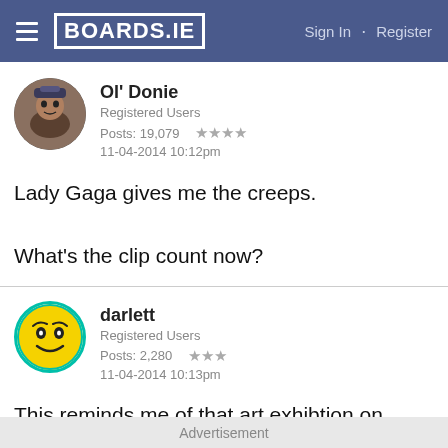BOARDS.IE  Sign In · Register
Ol' Donie
Registered Users
Posts: 19,079 ★★★★
11-04-2014 10:12pm
Lady Gaga gives me the creeps.

What's the clip count now?
darlett
Registered Users
Posts: 2,280 ★★★
11-04-2014 10:13pm
This reminds me of that art exhibtion on O'Connell St., of the digital representation of people walking. What's
Advertisement